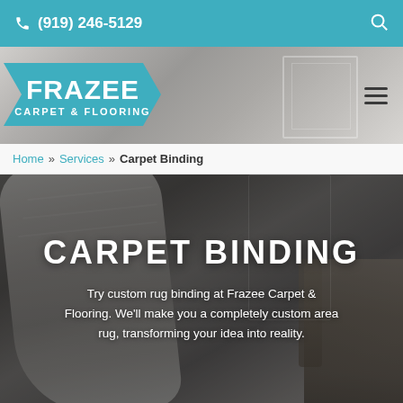(919) 246-5129
[Figure (logo): Frazee Carpet & Flooring logo — teal chevron/arrow shape with white text FRAZEE large and CARPET & FLOORING below]
Home » Services » Carpet Binding
CARPET BINDING
Try custom rug binding at Frazee Carpet & Flooring. We'll make you a completely custom area rug, transforming your idea into reality.